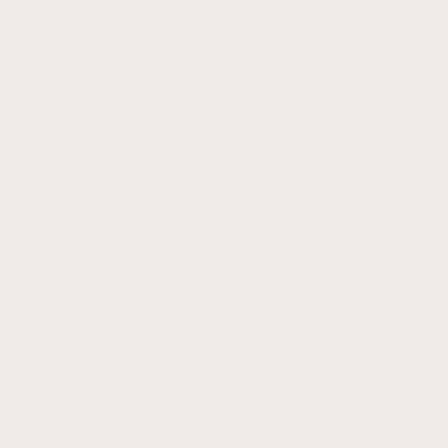http://www.nikeairmax-lsc.co.uk/, http://www.retrojordan-shoes.com, http://www.basketballshoes.com, http://www.mcm-backpacks.com, http://www.new-balanceshoes.co, http://www.under-armouroutlet.co, http://www.thenorth-face.com.co/, http://www.ralph-laurenpolos.com, http://www.ralphlaurens.co.uk/, ht, http://www.oakley-sbocco.it/, http, http://knicks.nbajerseysstore.com, http://www.oakleys-sunglass.com, http://www.michael-kors-bags.co, http://www.nba-shoes.com/, http:, http://www.rayban-sunglasses.fr/, http://www.cheap-pandora-charm, http://www.vansshoes-outlet.com, http://colts.nfl-jerseys.org/, http://w, http://www.tracksuits.com.co/, ht, http://www.adidas-shoes.es/, http, http://www.nbajerseysstore.com/, , http://cowboys.nfl-jerseys.org/, h, huarache.co.nl/, http://www.arma, http://www.swarovskijewellery-au, http://www.oakleys-lrc.com/, http, http://www.hugo-boss.com.co/, h, http://warriors.nbajerseysstore.co, http://www.raybans-outlet.cc/, ht